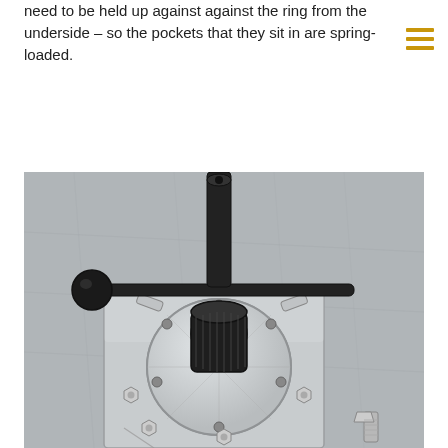need to be held up against against the ring from the underside – so the pockets that they sit in are spring-loaded.
[Figure (photo): Close-up photograph of a precision machined circular metal fixture/jig mounted on a flat metal plate. The fixture has a black cylindrical handle with a cross-bar handle attached to the top. Small metal fasteners/bolts are arranged around the fixture and scattered on the plate around it.]